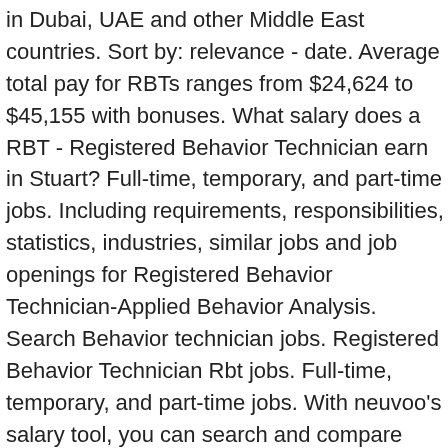in Dubai, UAE and other Middle East countries. Sort by: relevance - date. Average total pay for RBTs ranges from $24,624 to $45,155 with bonuses. What salary does a RBT - Registered Behavior Technician earn in Stuart? Full-time, temporary, and part-time jobs. Including requirements, responsibilities, statistics, industries, similar jobs and job openings for Registered Behavior Technician-Applied Behavior Analysis. Search Behavior technician jobs. Registered Behavior Technician Rbt jobs. Full-time, temporary, and part-time jobs. With neuvoo's salary tool, you can search and compare thousands of salaries in your region. An RBT will aim to implement any treatment plans, working directly with the patient. Free, fast and easy way find a job of 639.000+ postings in Washington DC and other big cities in USA. 147